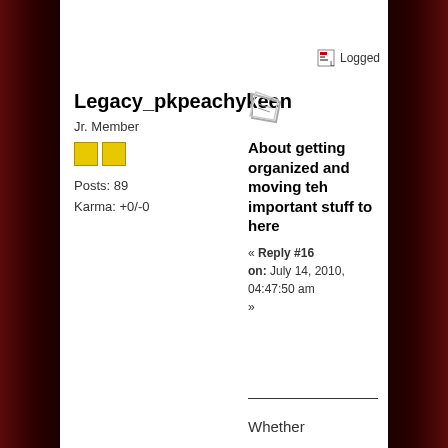Logged
Legacy_pkpeachykeen
Jr. Member
Posts: 89
Karma: +0/-0
About getting organized and moving teh important stuff to here
« Reply #16 on: July 14, 2010, 04:47:50 am »
Whether